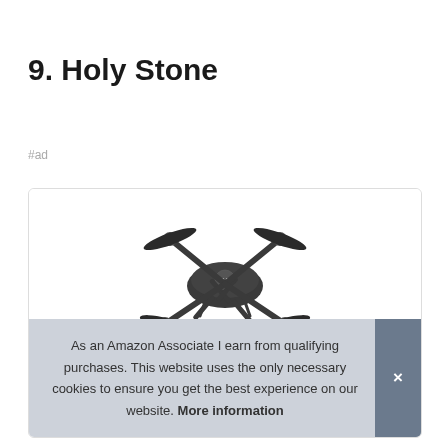9. Holy Stone
#ad
[Figure (photo): Holy Stone drone quadcopter with four propellers, dark grey/black color, folded arm design with H logo on top, shown on white background inside a product card with rounded border]
As an Amazon Associate I earn from qualifying purchases. This website uses the only necessary cookies to ensure you get the best experience on our website. More information